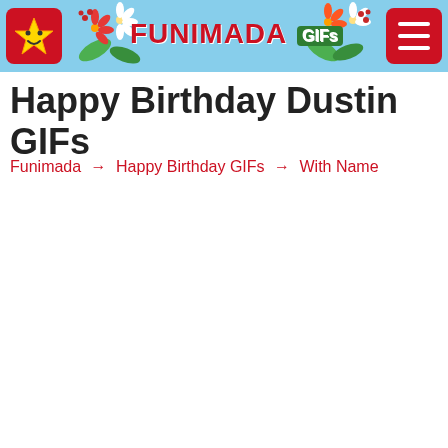FUNIMADA GIFs
Happy Birthday Dustin GIFs
Funimada → Happy Birthday GIFs → With Name